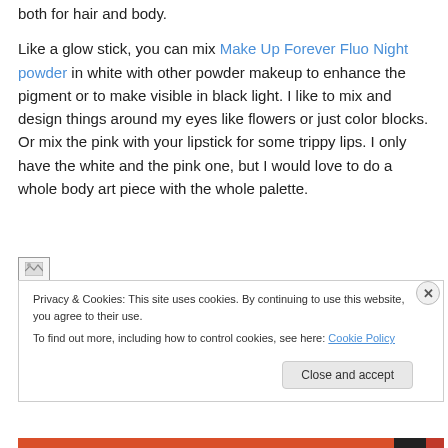both for hair and body. Like a glow stick, you can mix Make Up Forever Fluo Night powder in white with other powder makeup to enhance the pigment or to make visible in black light. I like to mix and design things around my eyes like flowers or just color blocks. Or mix the pink with your lipstick for some trippy lips. I only have the white and the pink one, but I would love to do a whole body art piece with the whole palette.
[Figure (other): Broken image placeholder icon]
Privacy & Cookies: This site uses cookies. By continuing to use this website, you agree to their use. To find out more, including how to control cookies, see here: Cookie Policy
Close and accept